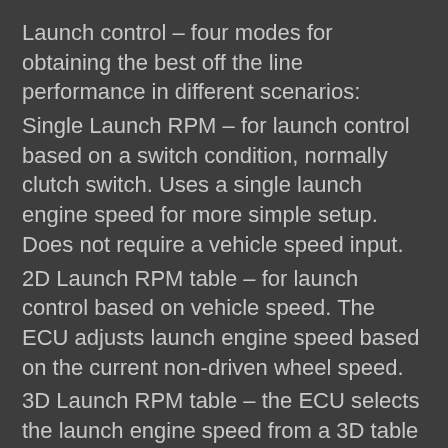Launch control – four modes for obtaining the best off the line performance in different scenarios:
Single Launch RPM – for launch control based on a switch condition, normally clutch switch. Uses a single launch engine speed for more simple setup. Does not require a vehicle speed input.
2D Launch RPM table – for launch control based on vehicle speed. The ECU adjusts launch engine speed based on the current non-driven wheel speed.
3D Launch RPM table – the ECU selects the launch engine speed from a 3D table with configurable axis options. This allows the tuner to add an extra dimension of control to the launch engine speed.